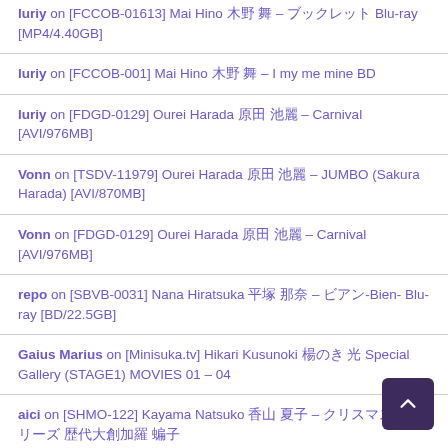luriy on [FCCOB-01613] Mai Hino ???? – ????? Blu-ray [MP4/4.40GB]
luriy on [FCCOB-001] Mai Hino ???? – I my me mine BD
luriy on [FDGD-0129] Ourei Harada ???? – Carnival [AVI/976MB]
Vonn on [TSDV-11979] Ourei Harada ???? – JUMBO (Sakura Harada) [AVI/870MB]
Vonn on [FDGD-0129] Ourei Harada ???? – Carnival [AVI/976MB]
repo on [SBVB-0031] Nana Hiratsuka ???? – ??-Bien- Blu-ray [BD/22.5GB]
Gaius Marius on [Minisuka.tv] Hikari Kusunoki ?????? Special Gallery (STAGE1) MOVIES 01 – 04
aici on [SHMO-122] Kayama Natsuko ?????? – ???????????????? ?????
Vonn on [FGDV-008] ?????? – ????????